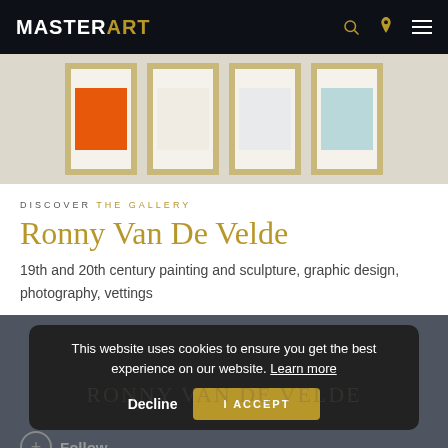MASTERART
[Figure (photo): Four framed artworks side by side: first has an orange rectangle on white background, second and third are mostly white/off-white, fourth has a light blue/mint rectangle on white background. All in gold frames against a beige wall.]
DISCOVER THE GALLERY
Ronny Van De Velde
19th and 20th century painting and sculpture, graphic design, photography, vettings
This website uses cookies to ensure you get the best experience on our website. Learn more
Decline
I ACCEPT
Follow